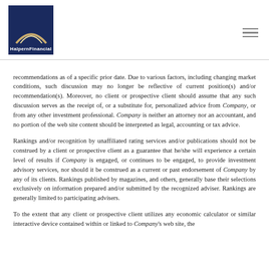[Figure (logo): Halpern Financial logo: dark navy blue square with a gold arch/arc and white text 'HalpernFinancial' beneath it]
recommendations as of a specific prior date.  Due to various factors, including changing market conditions, such discussion may no longer be reflective of current position(s) and/or recommendation(s).  Moreover, no client or prospective client should assume that any such discussion serves as the receipt of, or a substitute for, personalized advice from Company, or from any other investment professional.  Company is neither an attorney nor an accountant, and no portion of the web site content should be interpreted as legal, accounting or tax advice.
Rankings and/or recognition by unaffiliated rating services and/or publications should not be construed by a client or prospective client as a guarantee that he/she will experience a certain level of results if Company is engaged, or continues to be engaged, to provide investment advisory services, nor should it be construed as a current or past endorsement of Company by any of its clients.  Rankings published by magazines, and others, generally base their selections exclusively on information prepared and/or submitted by the recognized adviser. Rankings are generally limited to participating advisers.
To the extent that any client or prospective client utilizes any economic calculator or similar interactive device contained within or linked to Company's web site, the